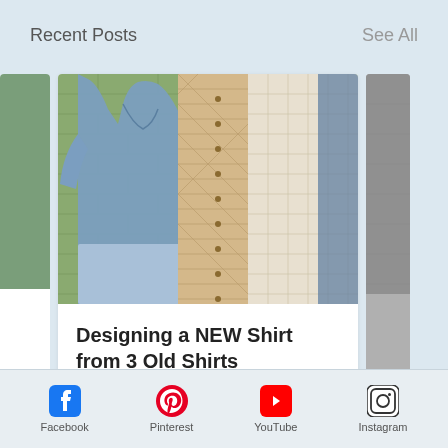Recent Posts
See All
[Figure (photo): Blog post card showing shirts hanging against a green brick wall — a blue shirt and a plaid/patterned shirt]
Designing a NEW Shirt from 3 Old Shirts
3 ♥
[Figure (logo): Facebook logo icon]
Facebook
[Figure (logo): Pinterest logo icon]
Pinterest
[Figure (logo): YouTube logo icon]
YouTube
[Figure (logo): Instagram logo icon]
Instagram